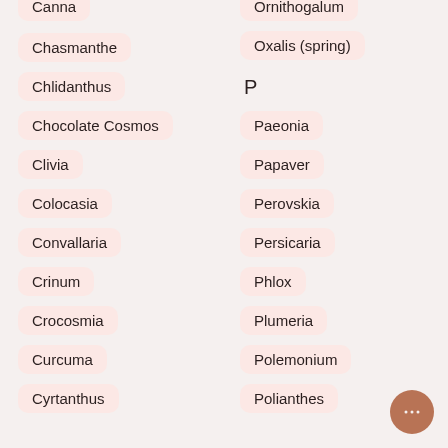Canna
Ornithogalum
Chasmanthe
Oxalis (spring)
Chlidanthus
P
Chocolate Cosmos
Paeonia
Clivia
Papaver
Colocasia
Perovskia
Convallaria
Persicaria
Crinum
Phlox
Crocosmia
Plumeria
Curcuma
Polemonium
Cyrtanthus
Polianthes